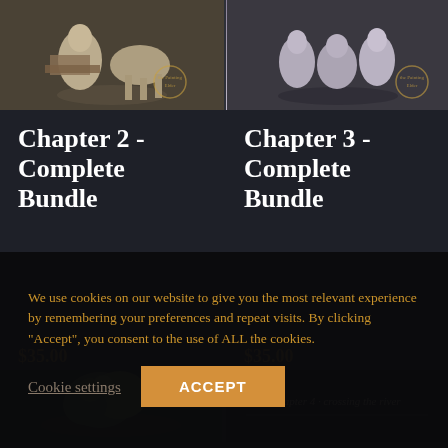[Figure (photo): Miniature figurine for Chapter 2 Complete Bundle - unpainted resin miniature on base]
[Figure (photo): Miniature figurine for Chapter 3 Complete Bundle - multiple resin miniatures on base]
Chapter 2 - Complete Bundle
Chapter 3 - Complete Bundle
$35.00
$35.00
[Figure (photo): Green miniature figure (bottom left card)]
[Figure (photo): Chapter 4 - Crossing the River banner (bottom right card)]
We use cookies on our website to give you the most relevant experience by remembering your preferences and repeat visits. By clicking “Accept”, you consent to the use of ALL the cookies.
Cookie settings
ACCEPT